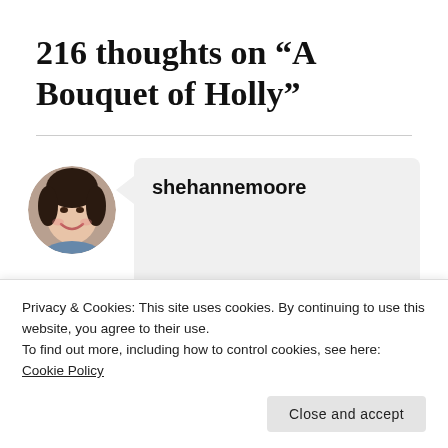216 thoughts on “A Bouquet of Holly”
[Figure (photo): Circular avatar photo of a woman with dark hair, smiling, used as a commenter profile picture]
shehannemoore
Bouquets of Holly are the
Privacy & Cookies: This site uses cookies. By continuing to use this website, you agree to their use.
To find out more, including how to control cookies, see here: Cookie Policy
Close and accept